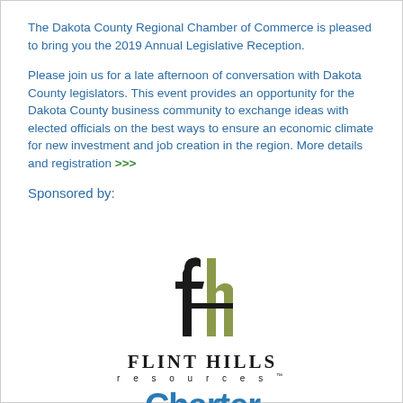The Dakota County Regional Chamber of Commerce is pleased to bring you the 2019 Annual Legislative Reception.
Please join us for a late afternoon of conversation with Dakota County legislators. This event provides an opportunity for the Dakota County business community to exchange ideas with elected officials on the best ways to ensure an economic climate for new investment and job creation in the region. More details and registration >>>
Sponsored by:
[Figure (logo): Flint Hills Resources logo with stylized 'fh' monogram in black and olive/green, followed by 'FLINT HILLS' in bold serif capitals and 'resources' in spaced sans-serif below]
[Figure (logo): Charter logo in blue bold sans-serif text, partially visible at bottom of page]